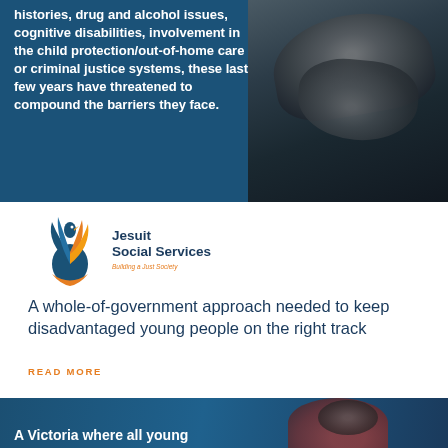[Figure (photo): Dark blue background banner with white bold text overlaid on left, and a dark photo of clasped/interlocked hands on the right side.]
histories, drug and alcohol issues, cognitive disabilities, involvement in the child protection/out-of-home care or criminal justice systems, these last few years have threatened to compound the barriers they face.
[Figure (logo): Jesuit Social Services logo — a stylized flame/bird figure in blue and orange, with text 'Jesuit Social Services' and tagline 'Building a Just Society'.]
A whole-of-government approach needed to keep disadvantaged young people on the right track
READ MORE
[Figure (photo): Dark blue photo banner showing a child in a red top, partially visible, with text overlay starting 'A Victoria where all young']
A Victoria where all young